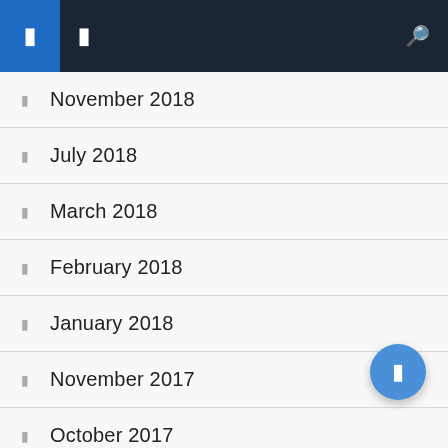Navigation bar with hamburger and search icons
November 2018
July 2018
March 2018
February 2018
January 2018
November 2017
October 2017
September 2017
July 2017
May 2017